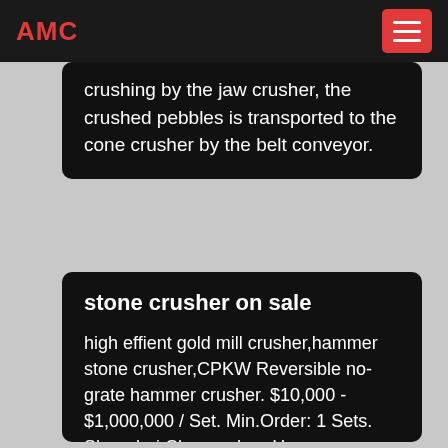AMC
crushing by the jaw crusher, the crushed pebbles is transported to the cone crusher by the belt conveyor.
stone crusher on sale
high effient gold mill crusher,hammer stone crusher,CPKW Reversible no-grate hammer crusher. $10,000 - $1,000,000 / Set. Min.Order: 1 Sets. Shanghai Chuangshen Heavy Machinery Co., Ltd. Contact Now. FTM Brand complete stone crusher specifications,china jaw crusher for sale specifications. $6,000 - $50,000 / Set.